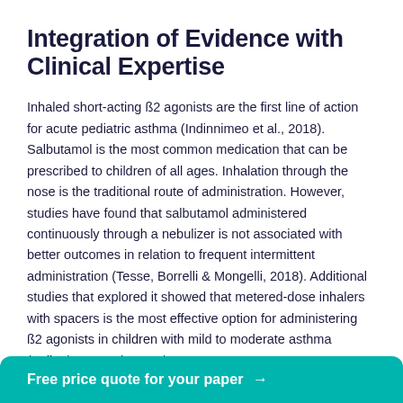Integration of Evidence with Clinical Expertise
Inhaled short-acting ß2 agonists are the first line of action for acute pediatric asthma (Indinnimeo et al., 2018). Salbutamol is the most common medication that can be prescribed to children of all ages. Inhalation through the nose is the traditional route of administration. However, studies have found that salbutamol administered continuously through a nebulizer is not associated with better outcomes in relation to frequent intermittent administration (Tesse, Borrelli & Mongelli, 2018). Additional studies that explored it showed that metered-dose inhalers with spacers is the most effective option for administering ß2 agonists in children with mild to moderate asthma (Indinnimeo et al., 2018).
Free price quote for your paper →